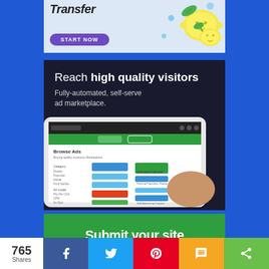[Figure (screenshot): Top ad banner with 'Transfer' title, a lemon illustration, a light blue background, and a purple 'START NOW' button]
[Figure (screenshot): Dark ad banner reading 'Reach high quality visitors / Fully-automated, self-serve ad marketplace.' with a tablet device showing a 'Browse Ads' interface]
[Figure (screenshot): Green banner with large white text 'Submit your site' partially visible]
765 Shares
[Figure (infographic): Social share bar with counts: Facebook (blue), Twitter (light blue), Pinterest (red), SMS (orange), Share (green)]